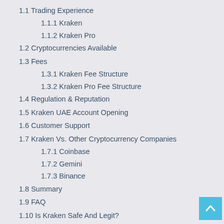1.1 Trading Experience
1.1.1 Kraken
1.1.2 Kraken Pro
1.2 Cryptocurrencies Available
1.3 Fees
1.3.1 Kraken Fee Structure
1.3.2 Kraken Pro Fee Structure
1.4 Regulation & Reputation
1.5 Kraken UAE Account Opening
1.6 Customer Support
1.7 Kraken Vs. Other Cryptocurrency Companies
1.7.1 Coinbase
1.7.2 Gemini
1.7.3 Binance
1.8 Summary
1.9 FAQ
1.10 Is Kraken Safe And Legit?